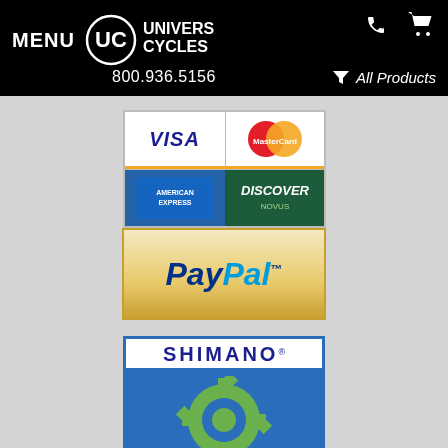MENU  UC UNIVERSAL CYCLES  800.936.5156  All Products
[Figure (logo): Payment logos: Visa, MasterCard, American Express, Discover]
[Figure (logo): PayPal payment logo]
[Figure (logo): Shimano Authorized Mail Order Retailer badge]
ABOUT UNIVERSAL CYCLES
Store Locations & Hours
Meet Our Staff